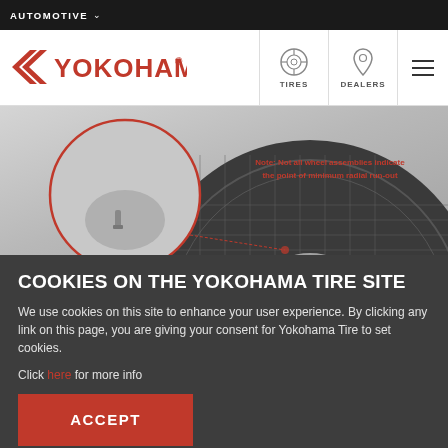AUTOMOTIVE
[Figure (logo): Yokohama tire logo with red chevron and YOKOHAMA wordmark]
[Figure (screenshot): Tire and wheel assembly photograph with magnified view of valve stem area, with red annotation note: 'Note: Not all wheel assemblies indicate the point of minimum radial run-out']
COOKIES ON THE YOKOHAMA TIRE SITE
We use cookies on this site to enhance your user experience. By clicking any link on this page, you are giving your consent for Yokohama Tire to set cookies.
Click here for more info
ACCEPT